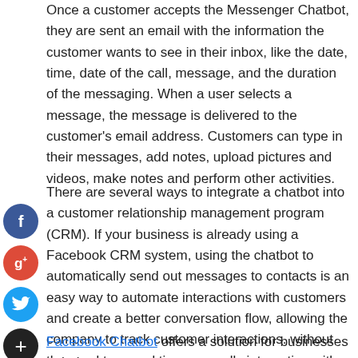Once a customer accepts the Messenger Chatbot, they are sent an email with the information the customer wants to see in their inbox, like the date, time, date of the call, message, and the duration of the messaging. When a user selects a message, the message is delivered to the customer's email address. Customers can type in their messages, add notes, upload pictures and videos, make notes and perform other activities.
There are several ways to integrate a chatbot into a customer relationship management program (CRM). If your business is already using a Facebook CRM system, using the chatbot to automatically send out messages to contacts is an easy way to automate interactions with customers and create a better conversation flow, allowing the company to track customer interactions. without the need to spend time manually interacting with customers or the system.
Facebook Chatbot offers a solution for businesses to help